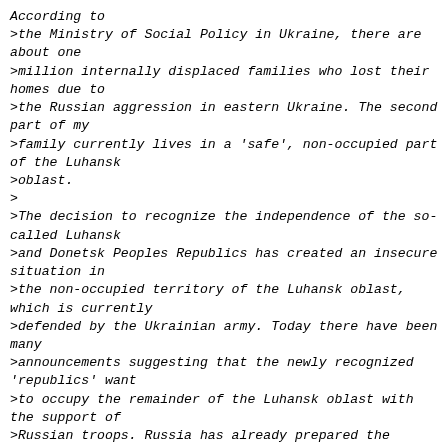According to
>the Ministry of Social Policy in Ukraine, there are about one
>million internally displaced families who lost their homes due to
>the Russian aggression in eastern Ukraine. The second part of my
>family currently lives in a 'safe', non-occupied part of the Luhansk
>oblast.
>
>The decision to recognize the independence of the so-called Luhansk
>and Donetsk Peoples Republics has created an insecure situation in
>the non-occupied territory of the Luhansk oblast, which is currently
>defended by the Ukrainian army. Today there have been many
>announcements suggesting that the newly recognized 'republics' want
>to occupy the remainder of the Luhansk oblast with the support of
>Russian troops. Russia has already prepared the official military
>agreement with these so-called republics.
>
>Since 2014 due to the Russian military intervention the occupied
>territories have become zones of violation of human rights.